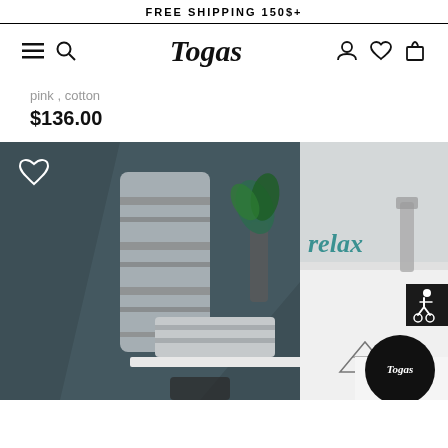FREE SHIPPING 150$+
[Figure (logo): Togas brand logo with navigation icons (hamburger menu, search, user, heart, cart)]
pink , cotton
$136.00
[Figure (photo): Product photo showing gray striped towels draped over a rack in a dark-toned bathroom setting with a vase of leaves and a 'relax' teal sign. Heart icon overlay in top-left, Togas logo circle in bottom-right, accessibility icon in bottom-right corner.]